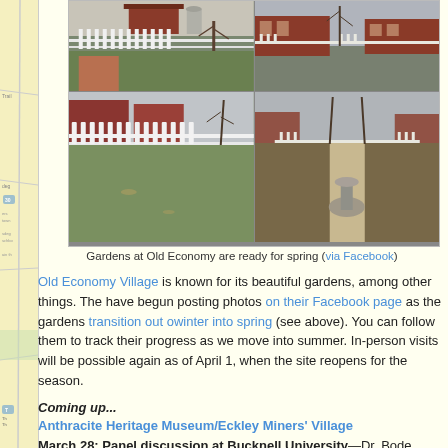[Figure (photo): Photo collage of gardens at Old Economy Village — four photos arranged in a 2x2 grid showing white picket fences, brick paths, garden beds, green lawn, and colonial-style buildings]
Gardens at Old Economy are ready for spring (via Facebook)
Old Economy Village is known for its beautiful gardens, among other things. They have begun posting photos on their Facebook page as the gardens transition out of winter into spring (see above). You can follow them to track their progress as we move into summer. In-person visits will be possible again as of April 1, when the site reopens for the season.
Coming up...
Anthracite Heritage Museum/Eckley Miners' Village
March 28: Panel discussion at Bucknell University—Dr. Bode Morin, site